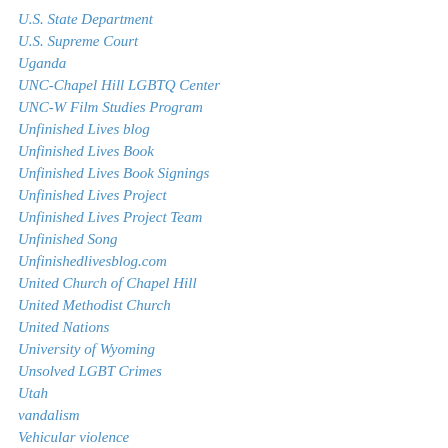U.S. State Department
U.S. Supreme Court
Uganda
UNC-Chapel Hill LGBTQ Center
UNC-W Film Studies Program
Unfinished Lives blog
Unfinished Lives Book
Unfinished Lives Book Signings
Unfinished Lives Project
Unfinished Lives Project Team
Unfinished Song
Unfinishedlivesblog.com
United Church of Chapel Hill
United Methodist Church
United Nations
University of Wyoming
Unsolved LGBT Crimes
Utah
vandalism
Vehicular violence